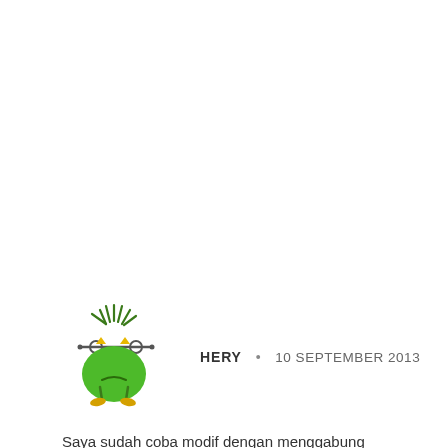[Figure (illustration): Cartoon green monster character with tentacle-like hair, wearing glasses (barbell-style), triangular yellow eyes, a round green body, and small yellow feet. The character has a grumpy or sad expression.]
HERY • 10 SEPTEMBER 2013
Saya sudah coba modif dengan menggabung program